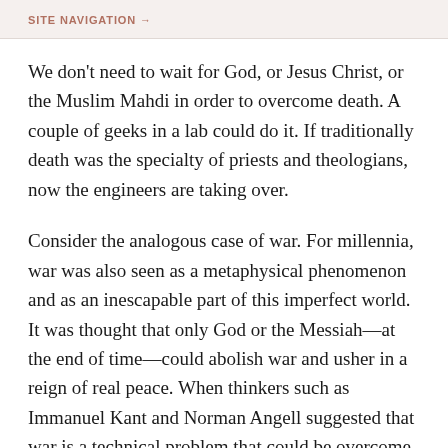SITE NAVIGATION →
We don't need to wait for God, or Jesus Christ, or the Muslim Mahdi in order to overcome death. A couple of geeks in a lab could do it. If traditionally death was the specialty of priests and theologians, now the engineers are taking over.
Consider the analogous case of war. For millennia, war was also seen as a metaphysical phenomenon and as an inescapable part of this imperfect world. It was thought that only God or the Messiah—at the end of time—could abolish war and usher in a reign of real peace. When thinkers such as Immanuel Kant and Norman Angell suggested that war is a technical problem that could be overcome by human institutions, they were ridiculed. In 1910, Norman Angell argued in The Great